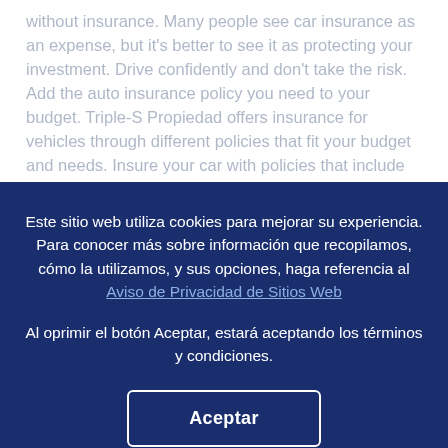without insurance. Many people see car insurance as an expense, but it's better to see it as protecting your investment. Drive confidently and don't take the risk. Add the auto insurance policy you need to your budget. Triple-S Propiedad offers insurance for vehicles through different policies that fit your budget and needs. Insure your car with policies that include bumper-to-bumper protection and that support your liability as a driver. When selecting Full Cover,
Este sitio web utiliza cookies para mejorar su experiencia. Para conocer más sobre información que recopilamos, cómo la utilizamos, y sus opciones, haga referencia al Aviso de Privacidad de Sitios Web
Al oprimir el botón Aceptar, estará aceptando los términos y condiciones.
Aceptar